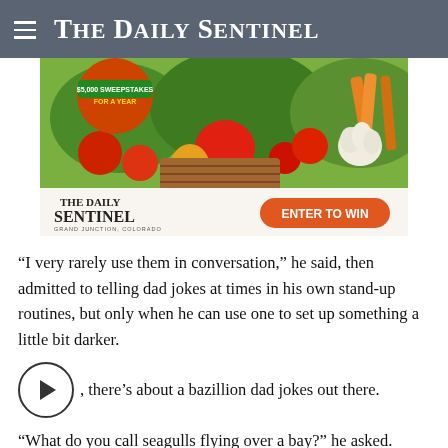The Daily Sentinel
[Figure (illustration): Advertisement banner for The Daily Sentinel $5,000 Sweepstakes For A Year with vegetables photo and Enter To Win button]
“I very rarely use them in conversation,” he said, then admitted to telling dad jokes at times in his own stand-up routines, but only when he can use one to set up something a little bit darker.
B…, there’s about a bazillion dad jokes out there.
“What do you call seagulls flying over a bay?” he asked.